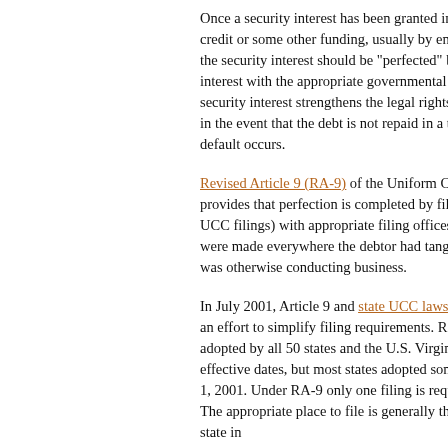Once a security interest has been granted in collateral in exchange for credit or some other funding, usually by entering a security agreement, the security interest should be "perfected" by filing evidence of such interest with the appropriate governmental authorities. Perfection of a security interest strengthens the legal rights of the creditor to the collateral in the event that the debt is not repaid in a timely fashion or some other default occurs.
Revised Article 9 (RA-9) of the Uniform Commercial Code (UCC) provides that perfection is completed by filing financing statements (or UCC filings) with appropriate filing offices. Historically, UCC filings were made everywhere the debtor had tangible property or offices and/or was otherwise conducting business.
In July 2001, Article 9 and state UCC laws in all 50 states were revised in an effort to simplify filing requirements. Revised Article 9 ("RA-9") was adopted by all 50 states and the U.S. Virgin Islands with staggered effective dates, but most states adopted some form of RA-9 effective July 1, 2001. Under RA-9 only one filing is required, except as noted below. The appropriate place to file is generally the office of the secretary of state in